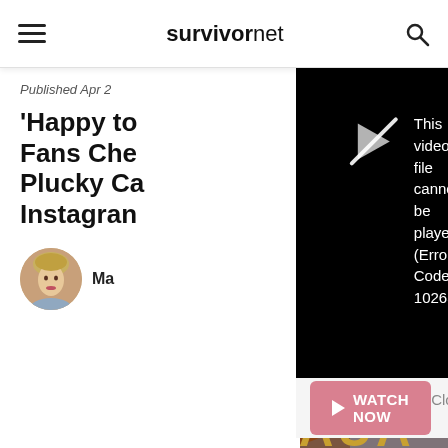survivornet — navigation header with hamburger menu and search icon
Published Apr 2
'Happy to Fans Che Plucky Ca Instagrar
[Figure (screenshot): Black video player showing error: This video file cannot be played. (Error Code: 102630) with a broken play icon]
[Figure (screenshot): Watch Now button (pink/rose) and Close button with X circle on a gray bar below the video]
[Figure (photo): Bottom portion of a photo showing a person with red/auburn curly hair, with gold text letters partially visible on left (ULA) and right (DAUA or similar)]
Ma